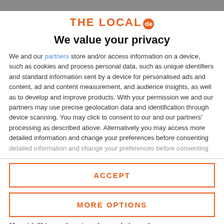[Figure (logo): The Local .de logo with orange text and orange circular badge]
We value your privacy
We and our partners store and/or access information on a device, such as cookies and process personal data, such as unique identifiers and standard information sent by a device for personalised ads and content, ad and content measurement, and audience insights, as well as to develop and improve products. With your permission we and our partners may use precise geolocation data and identification through device scanning. You may click to consent to our and our partners' processing as described above. Alternatively you may access more detailed information and change your preferences before consenting
ACCEPT
MORE OPTIONS
He said, "I jumped out into the autobahn and